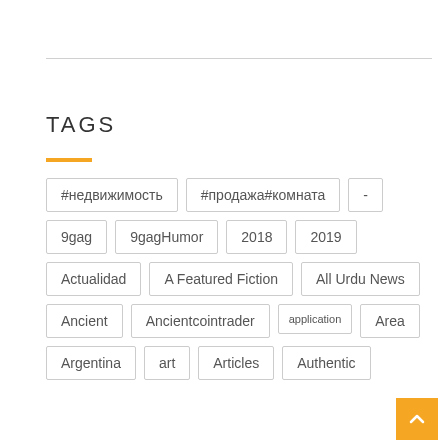TAGS
#недвижимость
#продажа#комната
-
9gag
9gagHumor
2018
2019
Actualidad
A Featured Fiction
All Urdu News
Ancient
Ancientcointrader
application
Area
Argentina
art
Articles
Authentic